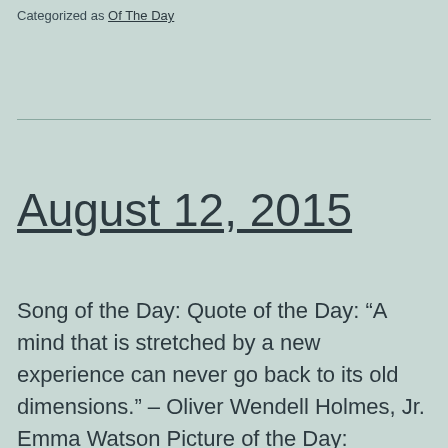Categorized as Of The Day
August 12, 2015
Song of the Day: Quote of the Day: “A mind that is stretched by a new experience can never go back to its old dimensions.” – Oliver Wendell Holmes, Jr. Emma Watson Picture of the Day: #WatsonWednesday 00